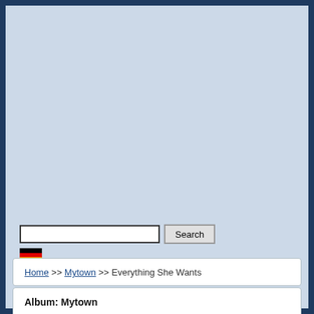[Figure (screenshot): Search bar with text input field and Search button]
[Figure (other): German flag icon]
Home >> Mytown >> Everything She Wants
Album: Mytown
Everything She Wants